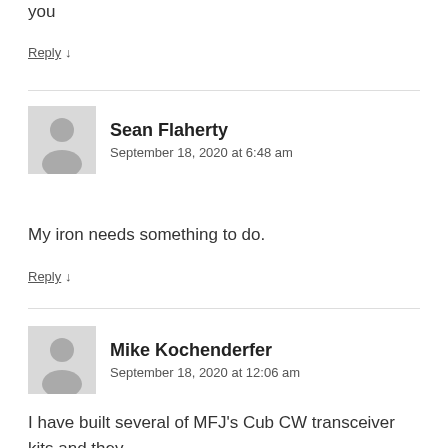you
Reply ↓
Sean Flaherty
September 18, 2020 at 6:48 am
My iron needs something to do.
Reply ↓
Mike Kochenderfer
September 18, 2020 at 12:06 am
I have built several of MFJ's Cub CW transceiver kits and they